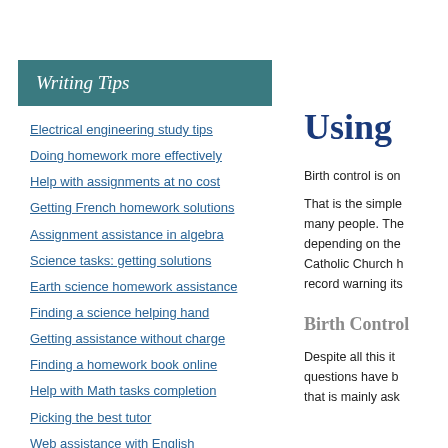Writing Tips
Electrical engineering study tips
Doing homework more effectively
Help with assignments at no cost
Getting French homework solutions
Assignment assistance in algebra
Science tasks: getting solutions
Earth science homework assistance
Finding a science helping hand
Getting assistance without charge
Finding a homework book online
Help with Math tasks completion
Picking the best tutor
Web assistance with English
Using
Birth control is on
That is the simple many people. The depending on the Catholic Church h record warning its
Birth Control
Despite all this it questions have b that is mainly ask